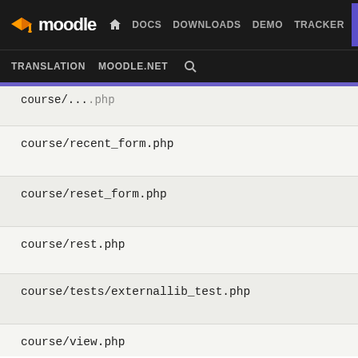moodle | DOCS DOWNLOADS DEMO TRACKER DEV | TRANSLATION MOODLE.NET
course/recent_form.php
course/reset_form.php
course/rest.php
course/tests/externallib_test.php
course/view.php